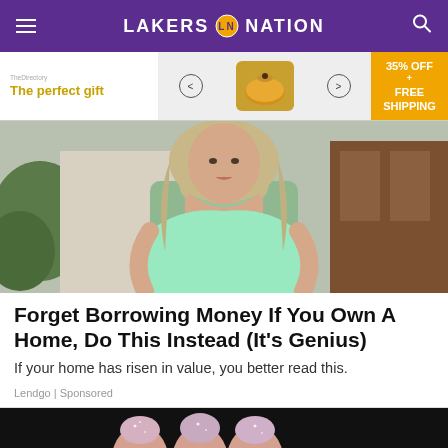LAKERS NATION
[Figure (screenshot): Advertisement banner: 'The perfect gift' with product image and '35% OFF + FREE SHIPPING']
[Figure (photo): Woman with blonde wavy hair wearing a mint green top, standing outdoors]
Forget Borrowing Money If You Own A Home, Do This Instead (It's Genius)
If your home has risen in value, you better read this.
Lendgo | Sponsored
[Figure (photo): Close-up of glittery nails against dark background]